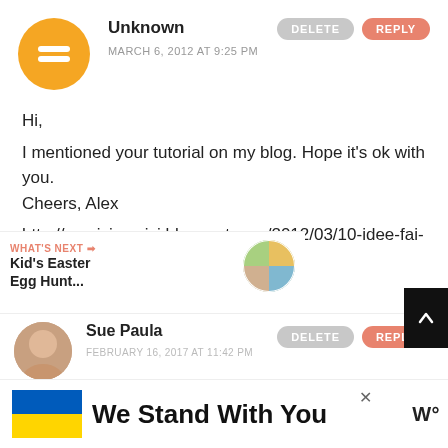[Figure (illustration): Orange circle Blogger avatar icon with white minus/minus symbol]
Unknown
MARCH 6, 2012 AT 9:25 PM
DELETE
REPLY
Hi,
I mentioned your tutorial on my blog. Hope it's ok with you.
Cheers, Alex
http://cecrisicecrisi.blogspot.com/2012/03/10-idee-fai-da-te-per-una-pasqua.html#more
[Figure (illustration): Pink heart like button circle icon]
[Figure (illustration): Light gray share button circle icon]
WHAT'S NEXT → Kid's Easter Egg Hunt...
[Figure (photo): Circular thumbnail of Easter egg hunt image]
Sue Paula
FEBRUARY 16, 2017 AT 11:42 PM
DELETE
REPLY
[Figure (illustration): Advertisement banner: Ukraine flag, We Stand With You text, W logo]
[Figure (illustration): Black scroll-to-top button with up arrow]